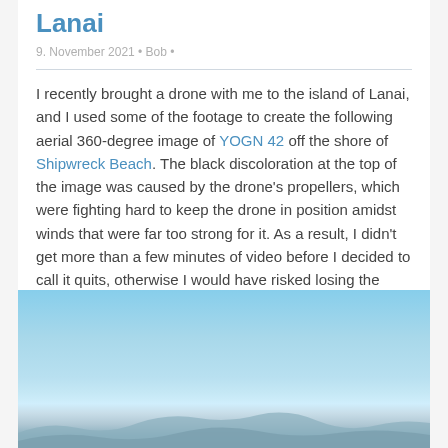Lanai
9. November 2021 • Bob •
I recently brought a drone with me to the island of Lanai, and I used some of the footage to create the following aerial 360-degree image of YOGN 42 off the shore of Shipwreck Beach. The black discoloration at the top of the image was caused by the drone's propellers, which were fighting hard to keep the drone in position amidst winds that were far too strong for it. As a result, I didn't get more than a few minutes of video before I decided to call it quits, otherwise I would have risked losing the drone.
[Figure (photo): Aerial photo showing a light blue sky with distant mountains or hills near the horizon, likely off the shore of Shipwreck Beach on Lanai.]